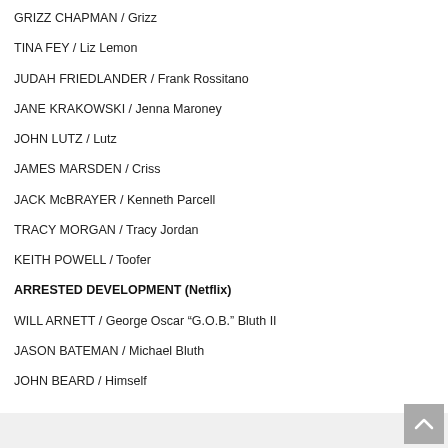GRIZZ CHAPMAN / Grizz
TINA FEY / Liz Lemon
JUDAH FRIEDLANDER / Frank Rossitano
JANE KRAKOWSKI / Jenna Maroney
JOHN LUTZ / Lutz
JAMES MARSDEN / Criss
JACK McBRAYER / Kenneth Parcell
TRACY MORGAN / Tracy Jordan
KEITH POWELL / Toofer
ARRESTED DEVELOPMENT (Netflix)
WILL ARNETT / George Oscar “G.O.B.” Bluth II
JASON BATEMAN / Michael Bluth
JOHN BEARD / Himself